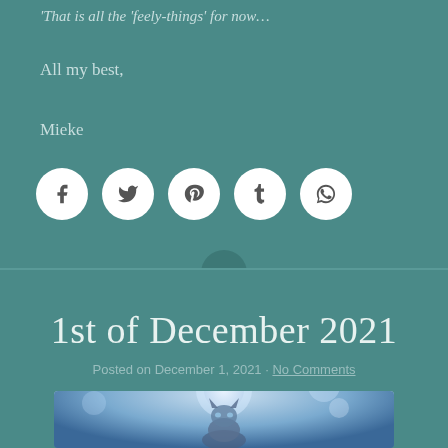'That is all the 'feely-things' for now…'
All my best,
Mieke
[Figure (infographic): Five social media share icons in white circles: Facebook (f), Twitter (bird), Pinterest (p), Tumblr (t), WhatsApp (phone)]
1st of December 2021
Posted on December 1, 2021 · No Comments
[Figure (photo): A cat looking upward with a glowing full moon and bokeh light effects in blue/silver tones]